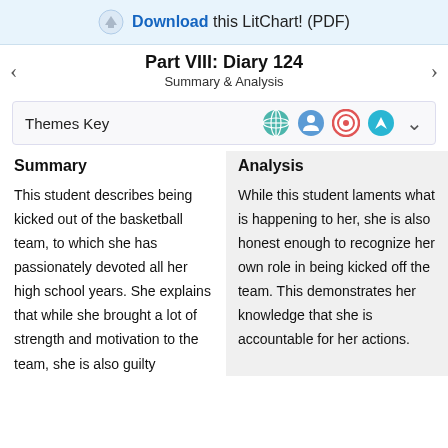Download this LitChart! (PDF)
Part VIII: Diary 124
Summary & Analysis
Themes Key
Summary
This student describes being kicked out of the basketball team, to which she has passionately devoted all her high school years. She explains that while she brought a lot of strength and motivation to the team, she is also guilty
Analysis
While this student laments what is happening to her, she is also honest enough to recognize her own role in being kicked off the team. This demonstrates her knowledge that she is accountable for her actions.